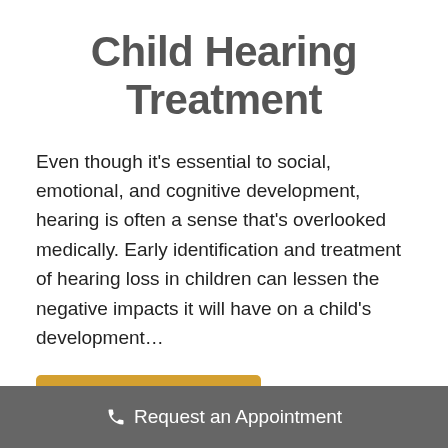Child Hearing Treatment
Even though it's essential to social, emotional, and cognitive development, hearing is often a sense that's overlooked medically. Early identification and treatment of hearing loss in children can lessen the negative impacts it will have on a child's development...
Continue Reading
Request an Appointment